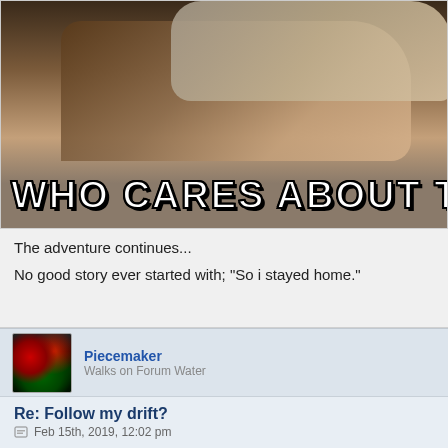[Figure (photo): Meme image showing people with text 'WHO CARES ABOUT THE RULE' in bold white Impact font at the bottom]
The adventure continues...

No good story ever started with; "So i stayed home."
Piecemaker
Walks on Forum Water
Re: Follow my drift?
Feb 15th, 2019, 12:02 pm
Here are the original rules:
Born_again wrote:
Sands of time -->
Time warp -->
Warped mind -->
Mind your step -->